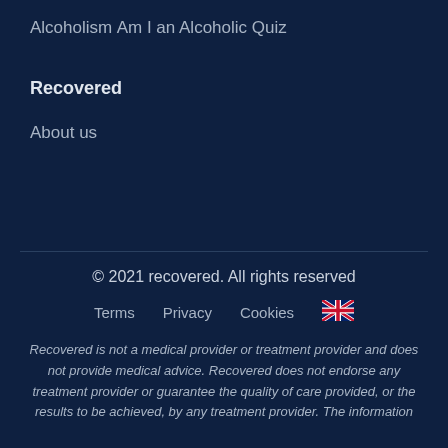Alcoholism
Am I an Alcoholic Quiz
Recovered
About us
© 2021 recovered. All rights reserved
Terms   Privacy   Cookies
Recovered is not a medical provider or treatment provider and does not provide medical advice. Recovered does not endorse any treatment provider or guarantee the quality of care provided, or the results to be achieved, by any treatment provider. The information